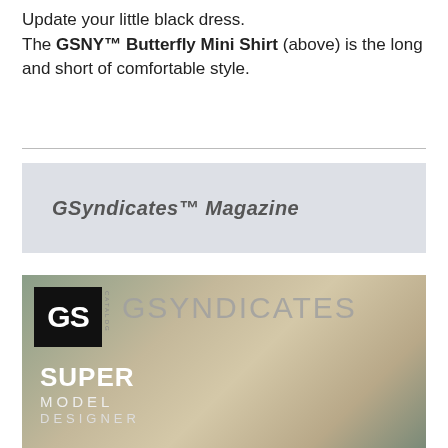Update your little black dress. The GSNY™ Butterfly Mini Shirt (above) is the long and short of comfortable style.
[Figure (illustration): GSyndicates™ Magazine banner with light blue-grey background]
[Figure (photo): GSyndicates magazine cover showing a model's face closeup with GS logo box, GSYNDICATES text, and SUPER MODEL DESIGNER text overlay]